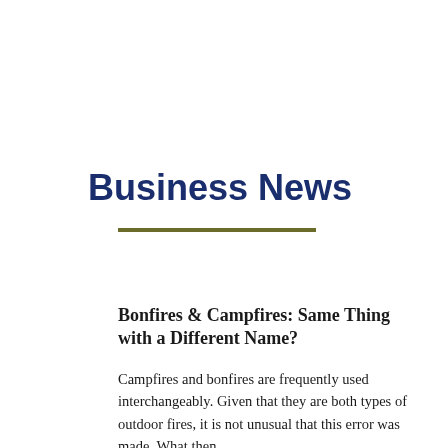Business News
Bonfires & Campfires: Same Thing with a Different Name?
Campfires and bonfires are frequently used interchangeably. Given that they are both types of outdoor fires, it is not unusual that this error was made. What then